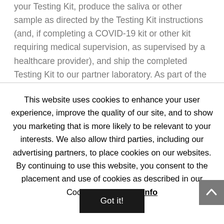your Testing Kit, produce the saliva or other sample as directed by the Testing Kit instructions (and, if completing a COVID-19 kit or other kit requiring medical supervision, as supervised by a healthcare provider), and ship the completed Testing Kit to our partner laboratory. As part of the Testing Kit registration and processing requirements, you will be prompted to review and, for
This website uses cookies to enhance your user experience, improve the quality of our site, and to show you marketing that is more likely to be relevant to your interests. We also allow third parties, including our advertising partners, to place cookies on our websites. By continuing to use this website, you consent to the placement and use of cookies as described in our Cookie Policy. More info
Got it!